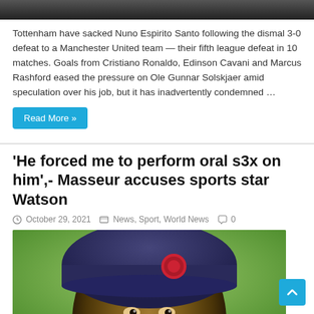[Figure (photo): Dark top image strip, partial photo]
Tottenham have sacked Nuno Espirito Santo following the dismal 3-0 defeat to a Manchester United team — their fifth league defeat in 10 matches. Goals from Cristiano Ronaldo, Edinson Cavani and Marcus Rashford eased the pressure on Ole Gunnar Solskjaer amid speculation over his job, but it has inadvertently condemned …
Read More »
'He forced me to perform oral s3x on him',- Masseur accuses sports star Watson
October 29, 2021   News, Sport, World News   0
[Figure (photo): Close-up photo of a man wearing a dark navy beanie hat with a Houston Texans logo badge, against a green background]